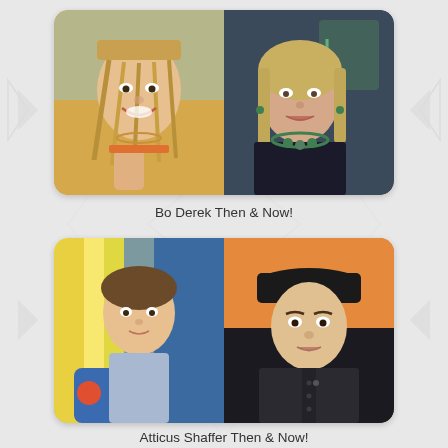[Figure (photo): Two side-by-side photos of Bo Derek: left shows her young with braided hair and a bright smile in a beach/sunny setting; right shows her older with straight blonde hair wearing a black outfit and green necklace at an event.]
Bo Derek Then & Now!
[Figure (photo): Two side-by-side photos of Atticus Shaffer: left shows him as a young child lying down in colorful casual clothes; right shows him slightly older wearing a black flat cap and dark shirt at what appears to be a press event.]
Atticus Shaffer Then & Now!